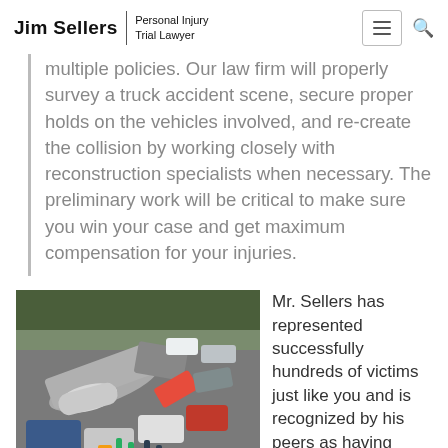Jim Sellers | Personal Injury Trial Lawyer
multiple policies. Our law firm will properly survey a truck accident scene, secure proper holds on the vehicles involved, and re-create the collision by working closely with reconstruction specialists when necessary. The preliminary work will be critical to make sure you win your case and get maximum compensation for your injuries.
[Figure (photo): Aerial view of a multi-vehicle truck accident scene on a highway with emergency responders and overturned vehicles]
Mr. Sellers has represented successfully hundreds of victims just like you and is recognized by his peers as having